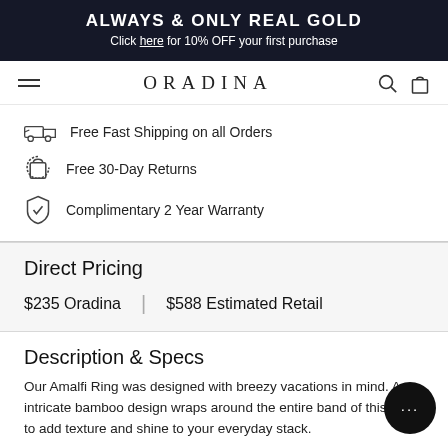ALWAYS & ONLY REAL GOLD
Click here for 10% OFF your first purchase
[Figure (logo): Oradina navigation bar with hamburger menu, ORADINA text logo, search and bag icons]
Free Fast Shipping on all Orders
Free 30-Day Returns
Complimentary 2 Year Warranty
Direct Pricing
$235 Oradina | $588 Estimated Retail
Description & Specs
Our Amalfi Ring was designed with breezy vacations in mind. An intricate bamboo design wraps around the entire band of this ring to add texture and shine to your everyday stack.